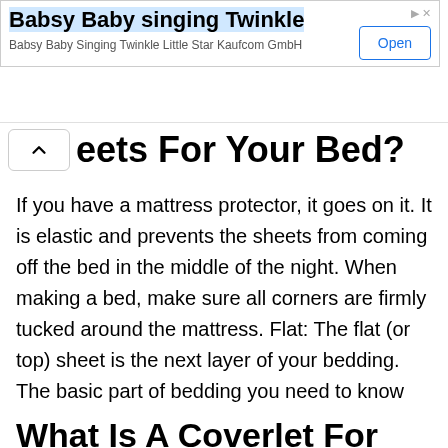[Figure (screenshot): Advertisement banner for 'Babsy Baby singing Twinkle' app by Kaufcom GmbH with an Open button]
eets For Your Bed?
If you have a mattress protector, it goes on it. It is elastic and prevents the sheets from coming off the bed in the middle of the night. When making a bed, make sure all corners are firmly tucked around the mattress. Flat: The flat (or top) sheet is the next layer of your bedding. The basic part of bedding you need to know
What Is A Coverlet For